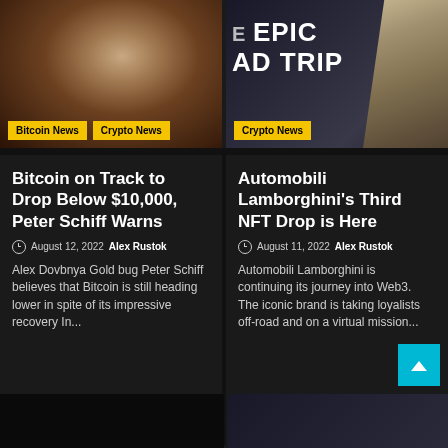[Figure (photo): Close-up photo of a man (Peter Schiff) in a suit, dark background]
Bitcoin News
Crypto News
[Figure (photo): Advertisement image with text 'E EPIC AD TRIP' and a Lamborghini car viewed from above]
Crypto News
Bitcoin on Track to Drop Below $10,000, Peter Schiff Warns
August 12, 2022  Alex Rustok
Alex Dovbnya Gold bug Peter Schiff believes that Bitcoin is still heading lower in spite of its impressive recovery In...
Automobili Lamborghini's Third NFT Drop is Here
August 11, 2022  Alex Rustok
Automobili Lamborghini is continuing its journey into Web3. The iconic brand is taking loyalists off-road and on a virtual mission...